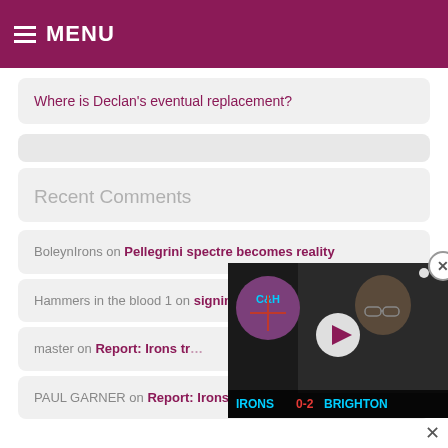MENU
Where is Declan's eventual replacement?
Recent Comments
BoleynIrons on Pellegrini spectre becomes reality
Hammers in the blood 1 on signing closing in
master on Report: Irons tr...
PAUL GARNER on Report: Irons transfer flurry looms
[Figure (screenshot): Embedded video overlay showing a man with glasses, West Ham United C&H logo visible, with bottom text IRONS 0-2 BRIGHTON, play button in center, close button top right]